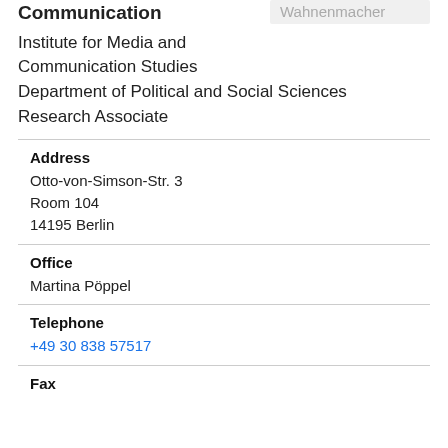Communication
Wahnenmacher
Institute for Media and Communication Studies
Department of Political and Social Sciences
Research Associate
Address
Otto-von-Simson-Str. 3
Room 104
14195 Berlin
Office
Martina Pöppel
Telephone
+49 30 838 57517
Fax